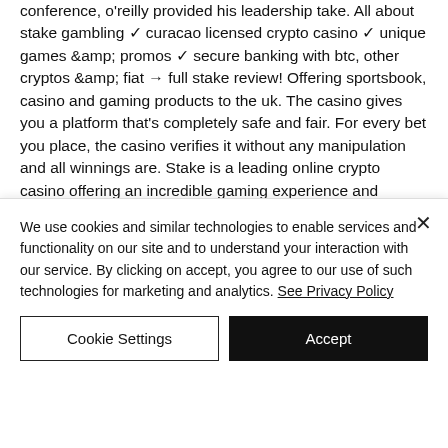conference, o'reilly provided his leadership take. All about stake gambling ✓ curacao licensed crypto casino ✓ unique games &amp; promos ✓ secure banking with btc, other cryptos &amp; fiat → full stake review! Offering sportsbook, casino and gaming products to the uk. The casino gives you a platform that's completely safe and fair. For every bet you place, the casino verifies it without any manipulation and all winnings are. Stake is a leading online crypto casino offering an incredible gaming experience and
We use cookies and similar technologies to enable services and functionality on our site and to understand your interaction with our service. By clicking on accept, you agree to our use of such technologies for marketing and analytics. See Privacy Policy
Cookie Settings
Accept